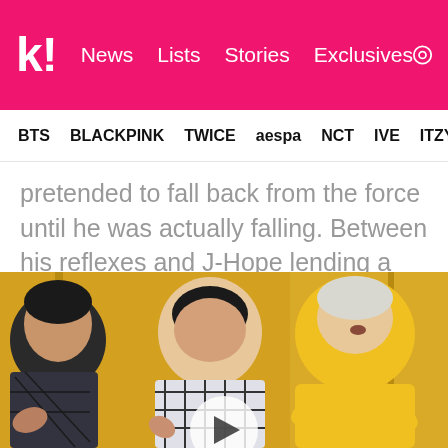k! News  Lists  Stories  Exclusives
BTS  BLACKPINK  TWICE  aespa  NCT  IVE  ITZY
pretended to fall back from the force until he was actually falling. Between his reflexes and J-Hope lending a hand, Jimin quickly regained his balance. RM even reached out to make sure he was steady.
[Figure (photo): Three BTS members in a room with yellow/orange walls. One person in a black patterned shirt on the left, one in a plaid shirt in the middle, one in a yellow hoodie with white/silver hair on the right. A video play button overlay is visible at the bottom center.]